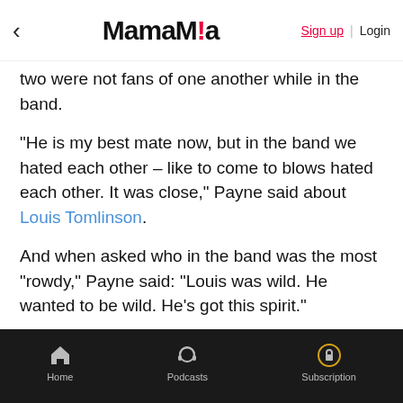< MamaMia Sign up | Login
two were not fans of one another while in the band.
"He is my best mate now, but in the band we hated each other – like to come to blows hated each other. It was close," Payne said about Louis Tomlinson.
And when asked who in the band was the most "rowdy," Payne said: "Louis was wild. He wanted to be wild. He's got this spirit."
Payne also said he almost "came to blows" with another bandmate backstage.
"It was well known within the band that I don't like taking s**t," he said. "There was one moment where there was an argument backstage and one member, in particular, threw me up a wall. So I said to him, 'If you
Home | Podcasts | Subscription